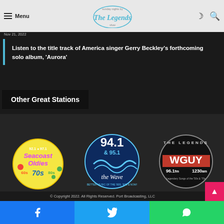Menu | The Legends [logo]
Dolly Parton hints at how she'll honor the rock genre if she attends the Rock & Roll Hall of Fame induction
Nov 21, 2022
Listen to the title track of America singer Gerry Beckley's forthcoming solo album, 'Aurora'
Other Great Stations
[Figure (logo): Seacoast Oldies 92.1 & 97.1 radio station logo - colorful circular badge with 60s 70s 80s text]
[Figure (logo): 94.1 & 95.1 The Wave radio station logo - blue circular badge with wave design]
[Figure (logo): The Legends 96.1fm WGUY 1230am radio station logo - black circular badge with red stripe]
© Copyright 2022. All Rights Reserved. Port Broadcasting, LLC